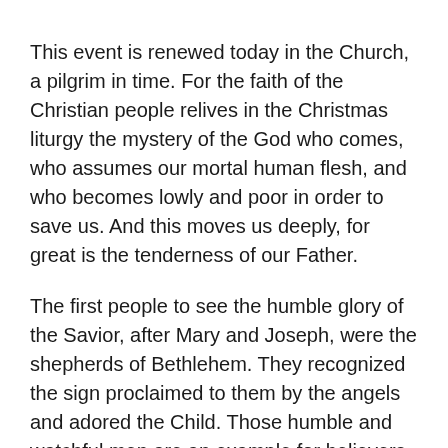This event is renewed today in the Church, a pilgrim in time. For the faith of the Christian people relives in the Christmas liturgy the mystery of the God who comes, who assumes our mortal human flesh, and who becomes lowly and poor in order to save us. And this moves us deeply, for great is the tenderness of our Father.
The first people to see the humble glory of the Savior, after Mary and Joseph, were the shepherds of Bethlehem. They recognized the sign proclaimed to them by the angels and adored the Child. Those humble and watchful men are an example for believers of every age who, before the mystery of Jesus, are not scandalized by his poverty. Rather, like Mary, they trust in God's word and contemplate his glory with simple eyes. Before the mystery of the Word made flesh, Christians in every place confess with the words of